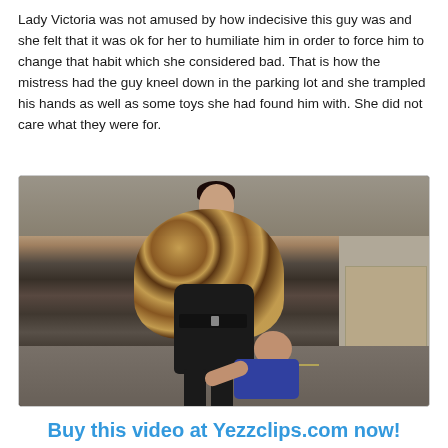Lady Victoria was not amused by how indecisive this guy was and she felt that it was ok for her to humiliate him in order to force him to change that habit which she considered bad. That is how the mistress had the guy kneel down in the parking lot and she trampled his hands as well as some toys she had found him with. She did not care what they were for.
[Figure (photo): A woman in a leopard print fur coat and black dress stands over a kneeling man in a parking garage.]
Buy this video at Yezzclips.com now!